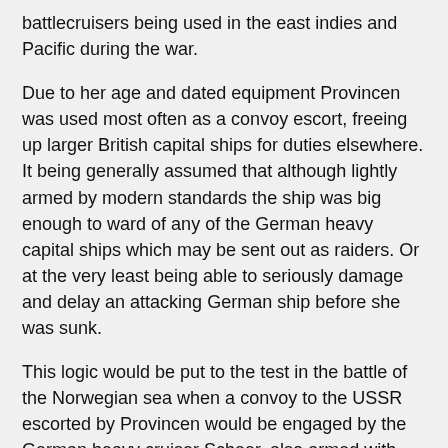battlecruisers being used in the east indies and Pacific during the war.
Due to her age and dated equipment Provincen was used most often as a convoy escort, freeing up larger British capital ships for duties elsewhere. It being generally assumed that although lightly armed by modern standards the ship was big enough to ward of any of the German heavy capital ships which may be sent out as raiders. Or at the very least being able to seriously damage and delay an attacking German ship before she was sunk.
This logic would be put to the test in the battle of the Norwegian sea when a convoy to the USSR escorted by Provincen would be engaged by the German heavy cruiser Scheer, also armed with 280mm guns. Recently fitted with a set of radar donated by the Americans Provincen would manage to hit the Scheer on her third salvo, driving off the raider without damage. This would be the only time the ship engaged another surface unit in direct combat, though she would engage and shoot down dozens of German